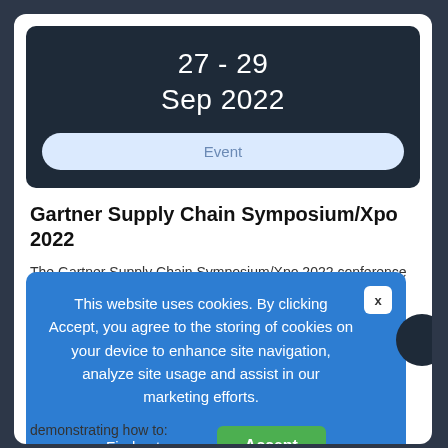27 - 29
Sep 2022
Event
Gartner Supply Chain Symposium/Xpo 2022
The Gartner Supply Chain Symposium/Xpo 2022 conference delivers the must-have insights, strategies and
This website uses cookies. By clicking Accept, you agree to the storing of cookies on your device to enhance site navigation, analyze site usage and assist in our marketing efforts.
Find out more
Accept
demonstrating how to: